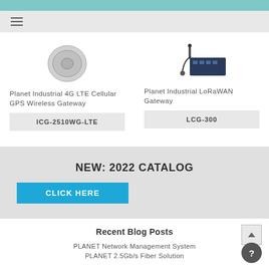Planet Industrial 4G LTE Cellular GPS Wireless Gateway
ICG-2510WG-LTE
[Figure (photo): Planet Industrial 4G LTE Cellular GPS Wireless Gateway device image]
Planet Industrial LoRaWAN Gateway
LCG-300
[Figure (photo): Planet Industrial LoRaWAN Gateway device image]
NEW: 2022 CATALOG
CLICK HERE
Recent Blog Posts
PLANET Network Management System
PLANET 2.5Gb/s Fiber Solution